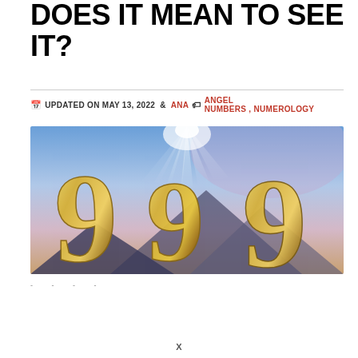DOES IT MEAN TO SEE IT?
UPDATED ON MAY 13, 2022  ANA  ANGEL NUMBERS , NUMEROLOGY
[Figure (illustration): Decorative image showing three large golden '9' numerals against a sky background with light rays, clouds, and mountain silhouette — relating to angel number 999]
- - - -
X